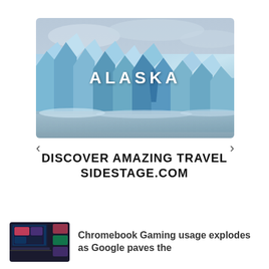[Figure (photo): Photo of glacier/iceberg with the word ALASKA overlaid in white text, with navigation arrows below]
DISCOVER AMAZING TRAVEL
SIDESTAGE.COM
[Figure (screenshot): Thumbnail image of Chromebook gaming interface showing dark UI with game tiles]
Chromebook Gaming usage explodes as Google paves the